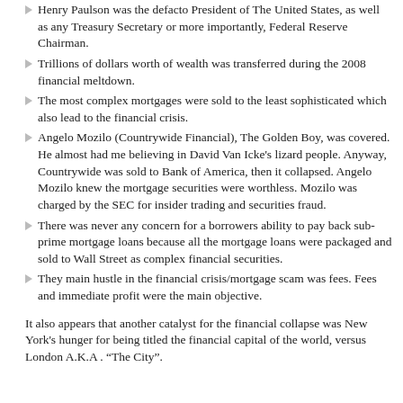Henry Paulson was the defacto President of The United States, as well as any Treasury Secretary or more importantly, Federal Reserve Chairman.
Trillions of dollars worth of wealth was transferred during the 2008 financial meltdown.
The most complex mortgages were sold to the least sophisticated which also lead to the financial crisis.
Angelo Mozilo (Countrywide Financial), The Golden Boy, was covered. He almost had me believing in David Van Icke's lizard people. Anyway, Countrywide was sold to Bank of America, then it collapsed. Angelo Mozilo knew the mortgage securities were worthless. Mozilo was charged by the SEC for insider trading and securities fraud.
There was never any concern for a borrowers ability to pay back sub-prime mortgage loans because all the mortgage loans were packaged and sold to Wall Street as complex financial securities.
They main hustle in the financial crisis/mortgage scam was fees. Fees and immediate profit were the main objective.
It also appears that another catalyst for the financial collapse was New York's hunger for being titled the financial capital of the world, versus London A.K.A . “The City”.